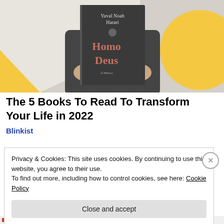[Figure (photo): Person holding up a copy of 'Homo Deus' by Yuval Noah Harari, covering their face, standing in front of a wall with yellow geometric shapes]
The 5 Books To Read To Transform Your Life in 2022
Blinkist
Privacy & Cookies: This site uses cookies. By continuing to use this website, you agree to their use.
To find out more, including how to control cookies, see here: Cookie Policy
Close and accept